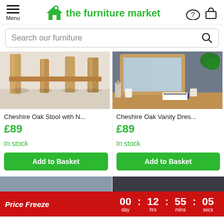the furniture market — Menu, Search our furniture, help icon, basket icon
Search our furniture
[Figure (photo): Cheshire Oak Stool with padded top — close-up of oak legs on light floor]
Cheshire Oak Stool with N...
£89
In stock
Add to Basket
[Figure (photo): Cheshire Oak Vanity Dressing table with mirror — grey wall background, oak frame]
Cheshire Oak Vanity Dres...
£89
In stock
Add to Basket
Price Freeze  00 day : 12 hrs : 55 mins : 05 secs